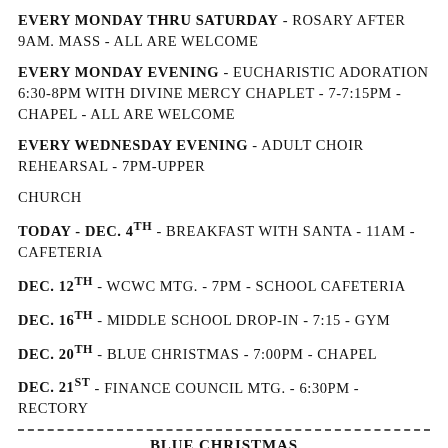EVERY MONDAY THRU SATURDAY - ROSARY AFTER 9AM. MASS - ALL ARE WELCOME
EVERY MONDAY EVENING - EUCHARISTIC ADORATION 6:30-8PM WITH DIVINE MERCY CHAPLET - 7-7:15PM - CHAPEL - ALL ARE WELCOME
EVERY WEDNESDAY EVENING - ADULT CHOIR REHEARSAL - 7PM-UPPER CHURCH
TODAY - DEC. 4TH - BREAKFAST WITH SANTA - 11AM - CAFETERIA
DEC. 12TH - WCWC MTG. - 7PM - SCHOOL CAFETERIA
DEC. 16TH - MIDDLE SCHOOL DROP-IN - 7:15 - GYM
DEC. 20TH - BLUE CHRISTMAS - 7:00PM - CHAPEL
DEC. 21ST - FINANCE COUNCIL MTG. - 6:30PM - RECTORY
BLUE CHRISTMAS